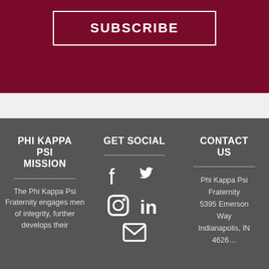SUBSCRIBE
PHI KAPPA PSI MISSION
The Phi Kappa Psi Fraternity engages men of integrity, further develops their
GET SOCIAL
[Figure (illustration): Social media icons: Facebook, Twitter, Instagram, LinkedIn, Email]
CONTACT US
Phi Kappa Psi Fraternity 5395 Emerson Way Indianapolis, IN 46226